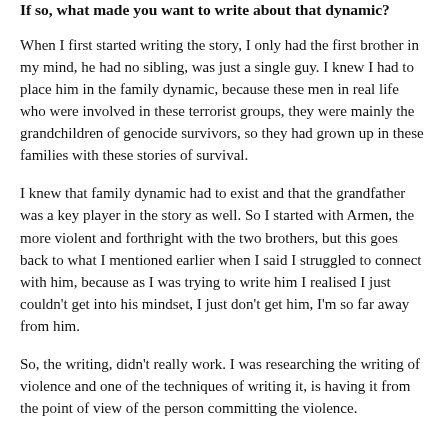If so, what made you want to write about that dynamic?
When I first started writing the story, I only had the first brother in my mind, he had no sibling, was just a single guy. I knew I had to place him in the family dynamic, because these men in real life who were involved in these terrorist groups, they were mainly the grandchildren of genocide survivors, so they had grown up in these families with these stories of survival.
I knew that family dynamic had to exist and that the grandfather was a key player in the story as well. So I started with Armen, the more violent and forthright with the two brothers, but this goes back to what I mentioned earlier when I said I struggled to connect with him, because as I was trying to write him I realised I just couldn't get into his mindset, I just don't get him, I'm so far away from him.
So, the writing, didn't really work. I was researching the writing of violence and one of the techniques of writing it, is having it from the point of view of the person committing the violence.